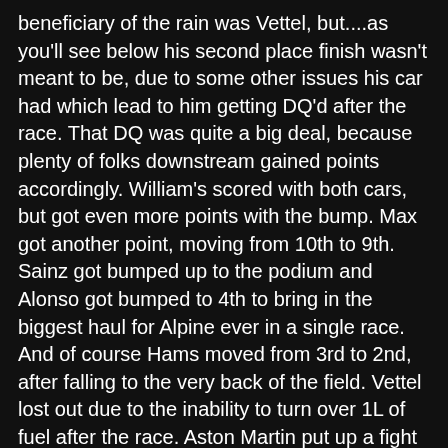beneficiary of the rain was Vettel, but....as you'll see below his second place finish wasn't meant to be, due to some other issues his car had which lead to him getting DQ'd after the race. That DQ was quite a big deal, because plenty of folks downstream gained points accordingly. William's scored with both cars, but got even more points with the bump. Max got another point, moving from 10th to 9th. Sainz got bumped up to the podium and Alonso got bumped to 4th to bring in the biggest haul for Alpine ever in a single race. And of course Hams moved from 3rd to 2nd, after falling to the very back of the field. Vettel lost out due to the inability to turn over 1L of fuel after the race. Aston Martin put up a fight during the Summer break (video below) but at this time they have no recourse. Everything that's happened has lead to a few things; one, Ferrari has closed the gap to McLaren in the Constructors and has another engine upgrade on the way. Merc has taken the lead over in both Drivers and Constructors Championships. Ricciardo still hasn't gotten a handle on the McLaren and Alonso is as good as he's ever been. Spa is a legendary track where drafting and power are keys to success. It'll be interesting to see how RBR responds and how Valtteri continues working on his bid to